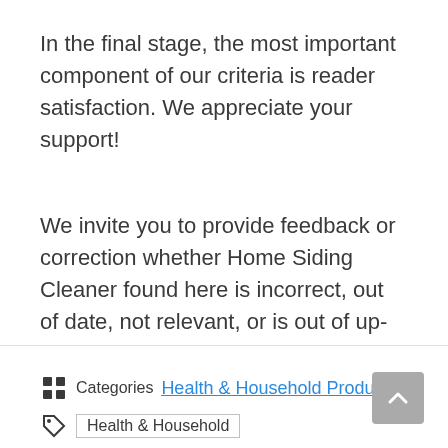In the final stage, the most important component of our criteria is reader satisfaction. We appreciate your support!
We invite you to provide feedback or correction whether Home Siding Cleaner found here is incorrect, out of date, not relevant, or is out of up-to-date. The list will be regularly updated according to your recommendations.
Health & Household Products | Health & Household